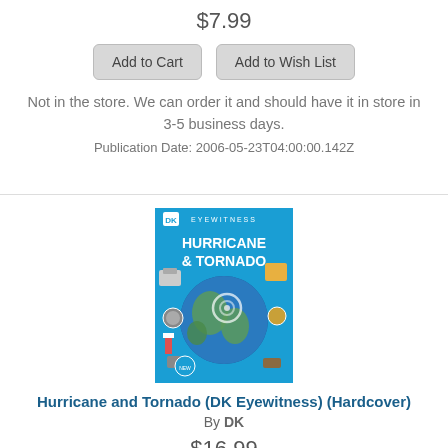$7.99
Add to Cart | Add to Wish List
Not in the store. We can order it and should have it in store in 3-5 business days.
Publication Date: 2006-05-23T04:00:00.142Z
[Figure (photo): Book cover: DK Eyewitness Hurricane & Tornado, featuring a blue cover with globe showing hurricane, satellite dishes, construction equipment, and weather instruments]
Hurricane and Tornado (DK Eyewitness) (Hardcover)
By DK
$16.99
Add to Cart | Add to Wish List